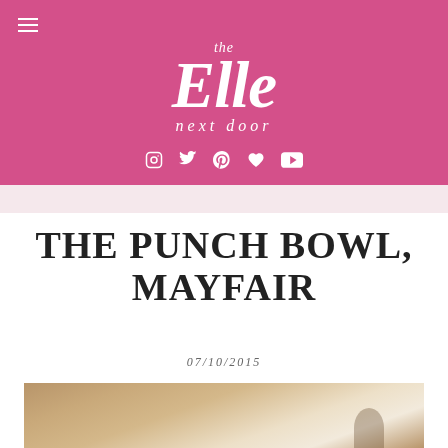the Elle next door
THE PUNCH BOWL, MAYFAIR
07/10/2015
[Figure (photo): Partial photo of what appears to be a table or surface in a restaurant setting]